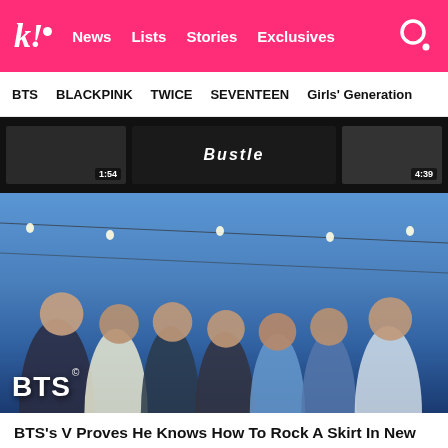koreaboo — News  Lists  Stories  Exclusives
BTS  BLACKPINK  TWICE  SEVENTEEN  Girls' Generation
[Figure (screenshot): Video player strip showing two video thumbnails with timestamps 1:54 and 4:39, and Bustle branding in the center]
[Figure (photo): Group photo of BTS members (7 people) posing together outdoors against a blue sky background with string lights, with a 'BTS' label in the bottom left corner]
BTS's V Proves He Knows How To Rock A Skirt In New